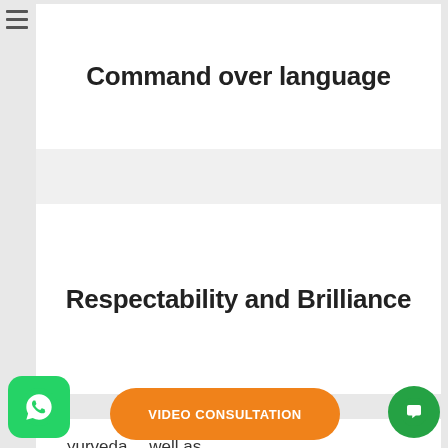[Figure (other): Hamburger menu icon (three horizontal lines) in top-left corner]
Command over language
Respectability and Brilliance
Ayurveda well as
[Figure (other): WhatsApp green rounded square button with phone icon]
[Figure (other): Orange rounded VIDEO CONSULTATION button]
[Figure (other): Green circle chat button]